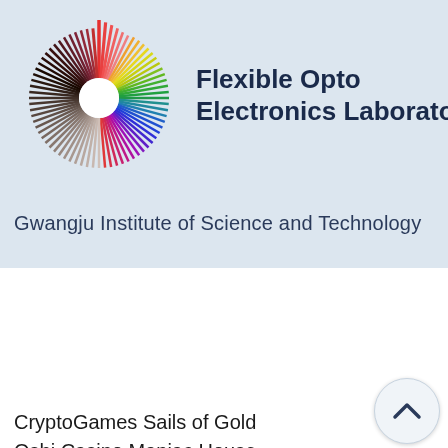[Figure (logo): Flexible Opto Electronics Laboratory logo with colorful radial sunburst circle and text 'Flexible Opto Electronics Laboratory', subtitle 'Gwangju Institute of Science and Technology']
CryptoGames Sails of Gold
Oshi Casino Maniac House
OneHash Winter Wonderland
Sportsbet.io Rooks Revenge
1xSlots Casino A Switch in Time
Betchan Casino Football Star
https://www.milanosegreta.net/profile/jarodrasool12963672/profile
https://www.authentichopecleaning.com/profile/grazynaclaro1431954/profile
https://www.riverroadna.org/profile/kamuakenbush1399551/profile